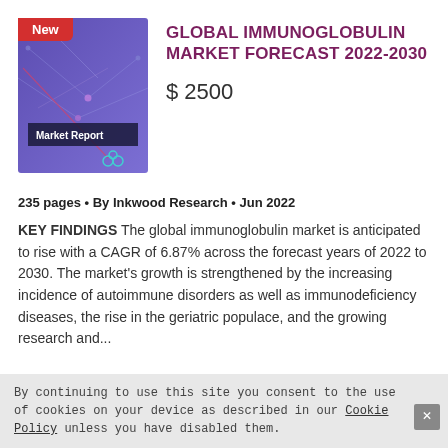[Figure (illustration): Book cover for Global Immunoglobulin Market Forecast 2022-2030 report with a blue/purple background, network graphic motif, 'Market Report' banner, and a red 'New' badge in the top-left corner.]
GLOBAL IMMUNOGLOBULIN MARKET FORECAST 2022-2030
$ 2500
235 pages • By Inkwood Research • Jun 2022
KEY FINDINGS The global immunoglobulin market is anticipated to rise with a CAGR of 6.87% across the forecast years of 2022 to 2030. The market's growth is strengthened by the increasing incidence of autoimmune disorders as well as immunodeficiency diseases, the rise in the geriatric populace, and the growing research and...
By continuing to use this site you consent to the use of cookies on your device as described in our Cookie Policy unless you have disabled them.